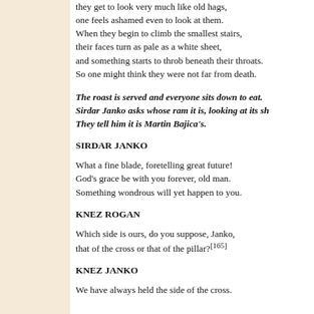they get to look very much like old hags, one feels ashamed even to look at them. When they begin to climb the smallest stairs, their faces turn as pale as a white sheet, and something starts to throb beneath their throats. So one might think they were not far from death.
The roast is served and everyone sits down to eat. Sirdar Janko asks whose ram it is, looking at its sh[oulder blade]. They tell him it is Martin Bajica's.
SIRDAR JANKO
What a fine blade, foretelling great future! God's grace be with you forever, old man. Something wondrous will yet happen to you.
KNEZ ROGAN
Which side is ours, do you suppose, Janko, that of the cross or that of the pillar?[165]
KNEZ JANKO
We have always held the side of the cross.